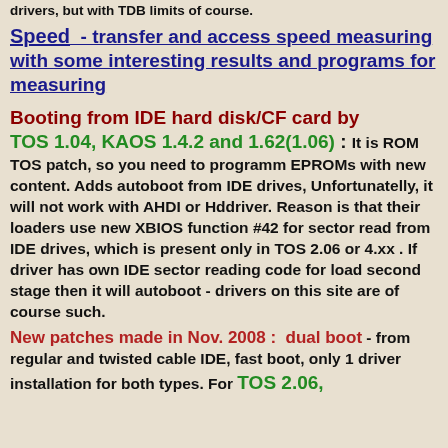drivers, but with TDB limits of course.
Speed - transfer and access speed measuring with some interesting results and programs for measuring
Booting from IDE hard disk/CF card by TOS 1.04, KAOS 1.4.2 and 1.62(1.06) : It is ROM TOS patch, so you need to programm EPROMs with new content. Adds autoboot from IDE drives, Unfortunatelly, it will not work with AHDI or Hddriver. Reason is that their loaders use new XBIOS function #42 for sector read from IDE drives, which is present only in TOS 2.06 or 4.xx . If driver has own IDE sector reading code for load second stage then it will autoboot - drivers on this site are of course such.
New patches made in Nov. 2008 : dual boot - from regular and twisted cable IDE, fast boot, only 1 driver installation for both types. For TOS 2.06,